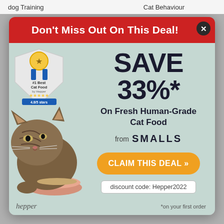dog Training   Cat Behaviour
Don't Miss Out On This Deal!
[Figure (illustration): Award badge: #1 Best Cat Food by Hepper, 4.8/5 stars, 2022]
[Figure (photo): Tabby cat eating from a pink bowl]
SAVE 33%*
On Fresh Human-Grade Cat Food
from SMALLS
CLAIM THIS DEAL >>
discount code: Hepper2022
hepper   *on your first order